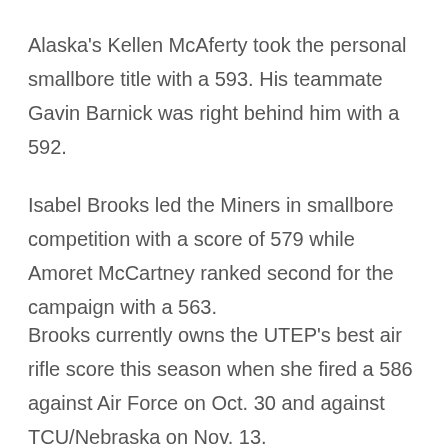Alaska's Kellen McAferty took the personal smallbore title with a 593. His teammate Gavin Barnick was right behind him with a 592.
Isabel Brooks led the Miners in smallbore competition with a score of 579 while Amoret McCartney ranked second for the campaign with a 563.
Brooks currently owns the UTEP's best air rifle score this season when she fired a 586 against Air Force on Oct. 30 and against TCU/Nebraska on Nov. 13.